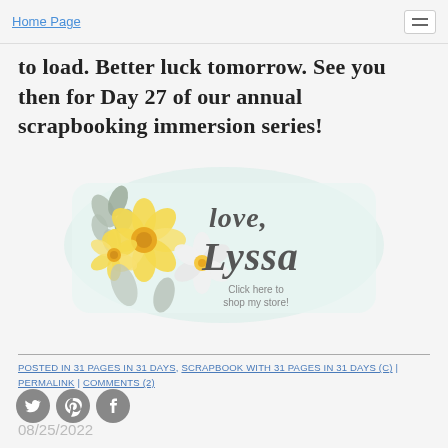Home Page
to load. Better luck tomorrow. See you then for Day 27 of our annual scrapbooking immersion series!
[Figure (illustration): Decorative signature card with floral design showing yellow and white flowers with gray leaves, script text reading 'love, Lyssa' and smaller text 'Click here to shop my store!' on a light mint/blue watercolor background]
POSTED IN 31 PAGES IN 31 DAYS, SCRAPBOOK WITH 31 PAGES IN 31 DAYS (C) | PERMALINK | COMMENTS (2)
[Figure (other): Social media icons: Twitter bird, Pinterest logo, Facebook logo]
08/25/2022